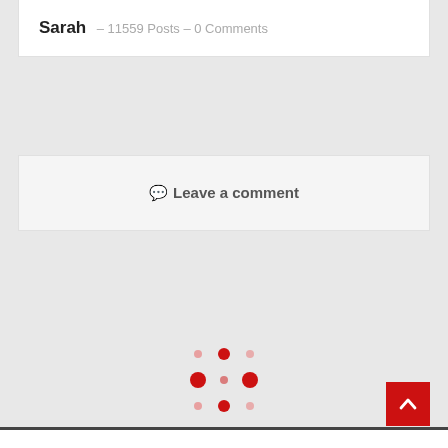Sarah – 11559 Posts – 0 Comments
💬 Leave a comment
[Figure (other): Loading spinner animation made of red dots arranged in a 3x3 grid pattern with varying sizes]
[Figure (other): Back to top button: red square with white upward arrow]